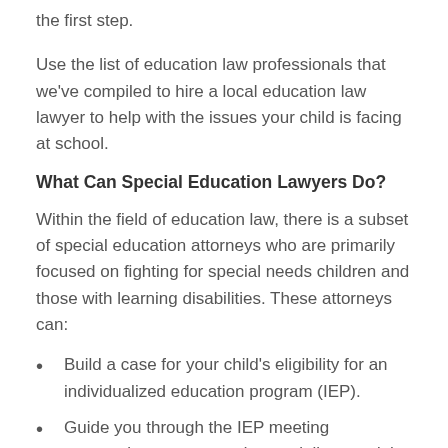the first step.
Use the list of education law professionals that we've compiled to hire a local education law lawyer to help with the issues your child is facing at school.
What Can Special Education Lawyers Do?
Within the field of education law, there is a subset of special education attorneys who are primarily focused on fighting for special needs children and those with learning disabilities. These attorneys can:
Build a case for your child's eligibility for an individualized education program (IEP).
Guide you through the IEP meeting preparation process and potentially attend the IEP meeting with you.